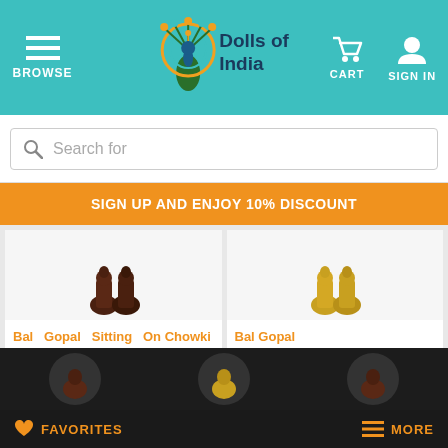BROWSE  Dolls of India  CART  SIGN IN
Search for
SIGN UP AND ENJOY 10% DISCOUNT
Bal Gopal Sitting On Chowki
Item Code: RK13
Marble
4 x 4 x 1.5 inches
Weight - 300 gms.
€40.00
Bal Gopal
Item Code: NR92
Brass
3.25 x 5.5 x 3 inches
Weight - 630 gms.
€65.50
FAVORITES  MORE